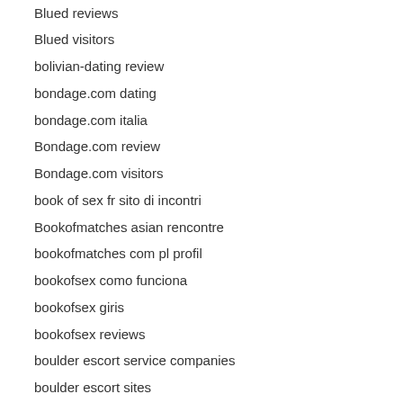Blued reviews
Blued visitors
bolivian-dating review
bondage.com dating
bondage.com italia
Bondage.com review
Bondage.com visitors
book of sex fr sito di incontri
Bookofmatches asian rencontre
bookofmatches com pl profil
bookofsex como funciona
bookofsex giris
bookofsex reviews
boulder escort service companies
boulder escort sites
brancher site de rencontreB gayB sans inscription
brazilcupid gratis
brazilcupid pl profil
brazilcupid visitors